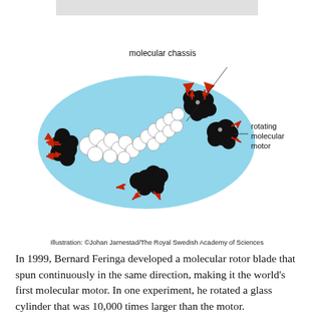[Figure (illustration): Molecular nanocar illustration showing a molecular chassis (white/black spheres) on a blue elliptical surface with four rotating molecular motors at corners (black clusters) and red bidirectional arrows indicating rotation/movement. Labels point to 'molecular chassis' (top) and 'rotating molecular motor' (right side).]
Illustration: ©Johan Jarnestad/The Royal Swedish Academy of Sciences
In 1999, Bernard Feringa developed a molecular rotor blade that spun continuously in the same direction, making it the world's first molecular motor. In one experiment, he rotated a glass cylinder that was 10,000 times larger than the motor.